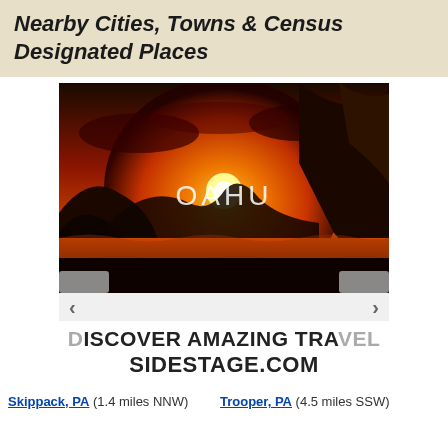Nearby Cities, Towns & Census Designated Places
[Figure (photo): Sunset coastal scene over rocky cliffs and ocean with 'OAHU' text overlay, part of a travel advertisement slideshow with navigation arrows below]
DISCOVER AMAZING TRAVEL
SIDESTAGE.COM
Skippack, PA (1.4 miles NNW)
Trooper, PA (4.5 miles SSW)